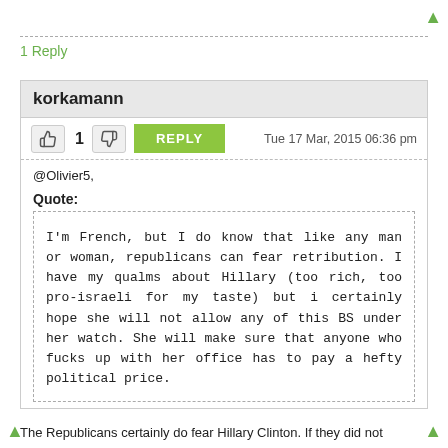1 Reply
korkamann
1   REPLY   Tue 17 Mar, 2015 06:36 pm
@Olivier5,
Quote:
I'm French, but I do know that like any man or woman, republicans can fear retribution. I have my qualms about Hillary (too rich, too pro-israeli for my taste) but i certainly hope she will not allow any of this BS under her watch. She will make sure that anyone who fucks up with her office has to pay a hefty political price.
The Republicans certainly do fear Hillary Clinton. If they did not